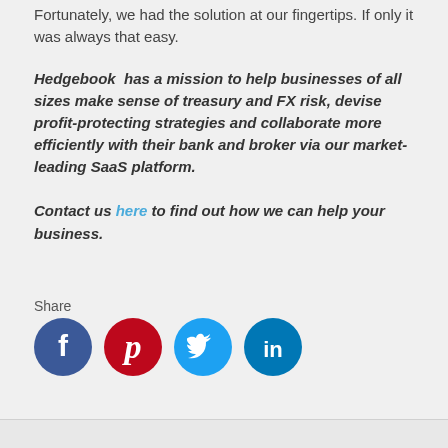Fortunately, we had the solution at our fingertips. If only it was always that easy.
Hedgebook has a mission to help businesses of all sizes make sense of treasury and FX risk, devise profit-protecting strategies and collaborate more efficiently with their bank and broker via our market-leading SaaS platform.
Contact us here to find out how we can help your business.
Share
[Figure (infographic): Row of four social media icon buttons: Facebook (dark blue circle with white f), Pinterest (red circle with white p), Twitter (light blue circle with white bird), LinkedIn (teal/dark blue circle with white 'in')]